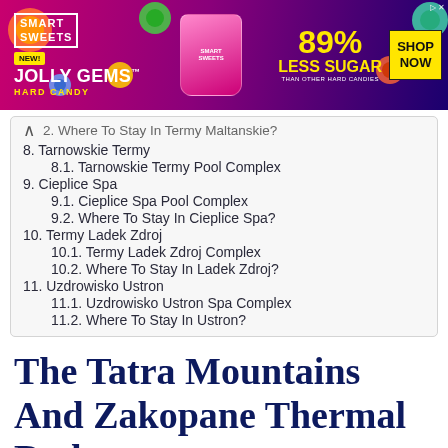[Figure (illustration): Smart Sweets Jolly Gems Hard Candy advertisement banner. Pink and purple gradient background with colorful candy illustrations. Text: NEW! JOLLY GEMS HARD CANDY, 89% LESS SUGAR THAN OTHER HARD CANDIES, SHOP NOW button.]
2. Where To Stay In Termy Maltanskie?
8. Tarnowskie Termy
8.1. Tarnowskie Termy Pool Complex
9. Cieplice Spa
9.1. Cieplice Spa Pool Complex
9.2. Where To Stay In Cieplice Spa?
10. Termy Ladek Zdroj
10.1. Termy Ladek Zdroj Complex
10.2. Where To Stay In Ladek Zdroj?
11. Uzdrowisko Ustron
11.1. Uzdrowisko Ustron Spa Complex
11.2. Where To Stay In Ustron?
The Tatra Mountains And Zakopane Thermal Baths